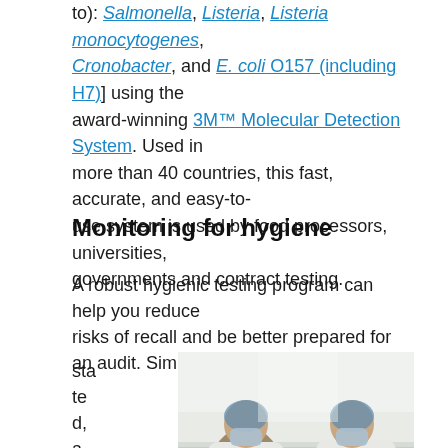to): Salmonella, Listeria, Listeria monocytogenes, Cronobacter, and E. coli O157 (including H7)] using the award-winning 3M™ Molecular Detection System. Used in more than 40 countries, this fast, accurate, and easy-to-use system is used by food processors, universities, governments and contract testing.
Monitoring for hygiene
A robust hygienic testing program can help you reduce risks of recall and be better prepared for an audit. Simply stated, a good qu
[Figure (photo): Two workers in white protective gear, hairnets, masks, and blue gloves working over a large container in a food processing facility.]